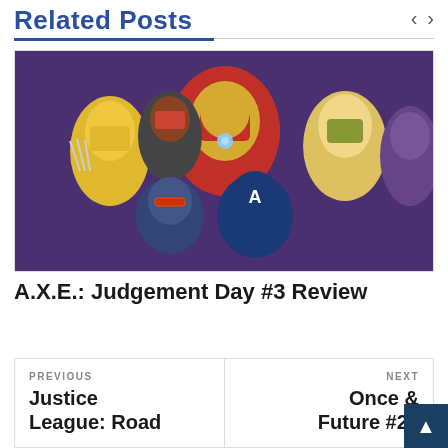Related Posts
[Figure (illustration): Comic book illustration showing multiple Marvel superheroes including Iron Man, Wolverine, Captain America, Thor, Black Widow, and others in a crowded action pose]
A.X.E.: Judgement Day #3 Review
PREVIOUS
Justice League: Road
NEXT
Once &
Future #26